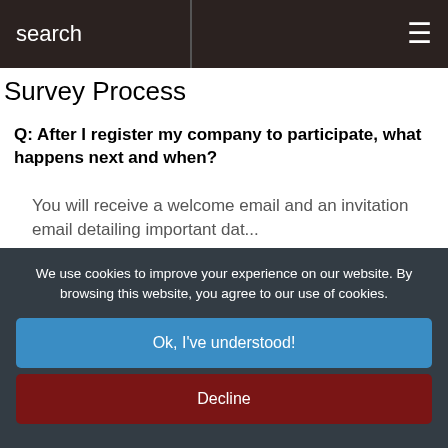search ≡
Survey Process
Q: After I register my company to participate, what happens next and when?
You will receive a welcome email and an invitation email detailing important dat...
We use cookies to improve your experience on our website. By browsing this website, you agree to our use of cookies.
Ok, I've understood!
Decline
Cancel
Settings
More Info